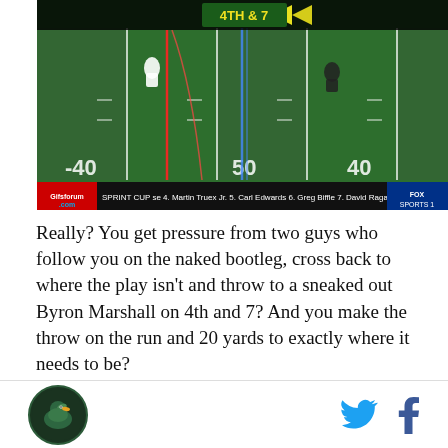[Figure (screenshot): TV broadcast screenshot of an American football game showing a bird's-eye view of the field. The scoreboard at top shows '4TH & 7'. The bottom ticker reads 'Gifsforum.com SPRINT CUP se 4. Martin Truex Jr. 5. Carl Edwards 6. Greg Biffle 7. David Ragan' with Fox Sports 1 logo.]
Really? You get pressure from two guys who follow you on the naked bootleg, cross back to where the play isn't and throw to a sneaked out Byron Marshall on 4th and 7? And you make the throw on the run and 20 yards to exactly where it needs to be?
Also kudos to Byron Marshall on this, who is absurdly in-tune with Mariota's improv routine here. It looks like it's meant to be a backside screen potential but that's
[Figure (logo): Circular site logo with dark green background, appears to be a sports blog logo]